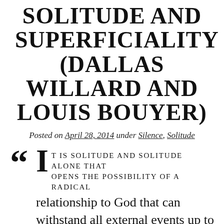SOLITUDE AND SUPERFICIALITY (DALLAS WILLARD AND LOUIS BOUYER)
Posted on April 28, 2014 under Silence, Solitude
“IT IS SOLITUDE AND SOLITUDE ALONE THAT opens the possibility of a radical relationship to God that can withstand all external events up to and beyond death. ... In solitude, we confront our own soul with its obscure forces and conflicts that escape